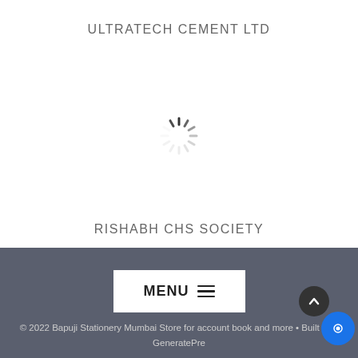ULTRATECH CEMENT LTD
[Figure (other): Loading spinner icon (animated spinner graphic in light gray)]
RISHABH CHS SOCIETY
[Figure (other): MENU button with hamburger icon on dark gray footer background]
© 2022 Bapuji Stationery Mumbai Store for account book and more • Built with GeneratePre